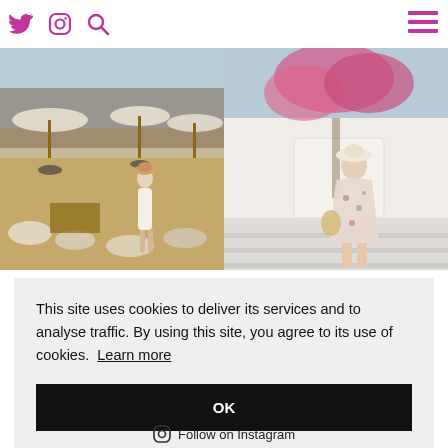Twitter, Instagram, Search icons left; Hamburger menu icon right
[Figure (photo): Woman in white swimsuit standing at a sandy beach club with lounge furniture and umbrellas]
[Figure (photo): Woman in floral midi dress standing by white wall with pink bougainvillea flowers]
This site uses cookies to deliver its services and to analyse traffic. By using this site, you agree to its use of cookies. Learn more
OK
Follow on Instagram